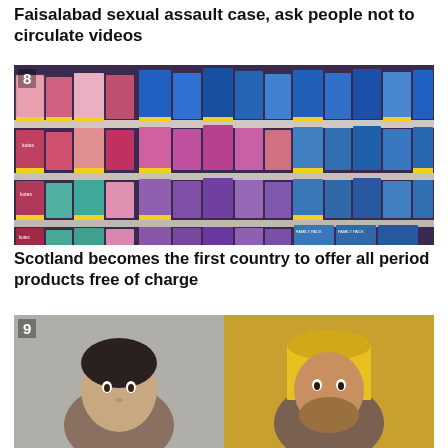Faisalabad sexual assault case, ask people not to circulate videos
[Figure (photo): Shelf in a store stocked with various period product packages including Kotex and other brands, shown across multiple shelves]
Scotland becomes the first country to offer all period products free of charge
[Figure (photo): Two men side by side: a man in a dark suit on the left and a man wearing a yellow turban on the right]